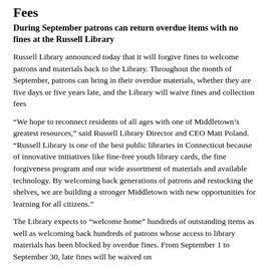Fees
During September patrons can return overdue items with no fines at the Russell Library
Russell Library announced today that it will forgive fines to welcome patrons and materials back to the Library. Throughout the month of September, patrons can bring in their overdue materials, whether they are five days or five years late, and the Library will waive fines and collection fees
“We hope to reconnect residents of all ages with one of Middletown’s greatest resources,” said Russell Library Director and CEO Matt Poland. “Russell Library is one of the best public libraries in Connecticut because of innovative initiatives like fine-free youth library cards, the fine forgiveness program and our wide assortment of materials and available technology. By welcoming back generations of patrons and restocking the shelves, we are building a stronger Middletown with new opportunities for learning for all citizens.”
The Library expects to “welcome home” hundreds of outstanding items as well as welcoming back hundreds of patrons whose access to library materials has been blocked by overdue fines. From September 1 to September 30, late fines will be waived on